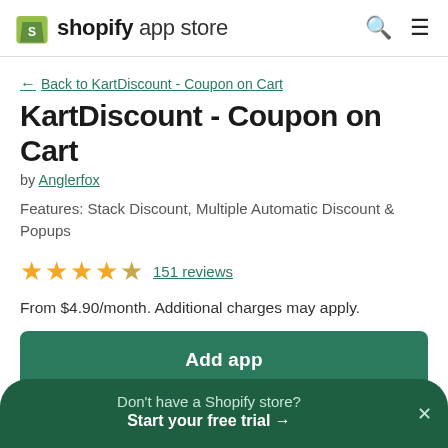shopify app store
← Back to KartDiscount - Coupon on Cart
KartDiscount - Coupon on Cart
by Anglerfox
Features: Stack Discount, Multiple Automatic Discount & Popups
★★★★★ 151 reviews
From $4.90/month. Additional charges may apply.
Add app
Don't have a Shopify store? Start your free trial →